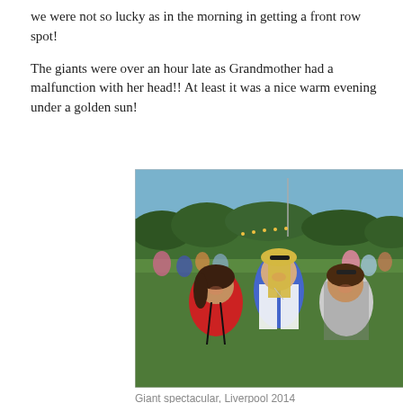we were not so lucky as in the morning in getting a front row spot!

The giants were over an hour late as Grandmother had a malfunction with her head!! At least it was a nice warm evening under a golden sun!
[Figure (photo): Three women posing together outdoors at an evening event on a grassy field with a crowd in the background and trees. The woman on the left wears a red top, the woman in the middle is tall with blonde hair wearing a white cardigan over a blue top, and the woman on the right has dark hair and wears a patterned sleeveless top.]
Giant spectacular, Liverpool 2014